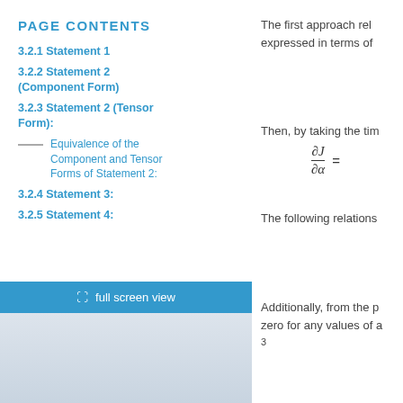PAGE CONTENTS
3.2.1 Statement 1
3.2.2 Statement 2 (Component Form)
3.2.3 Statement 2 (Tensor Form):
Equivalence of the Component and Tensor Forms of Statement 2:
3.2.4 Statement 3:
3.2.5 Statement 4:
The first approach rel expressed in terms of
Then, by taking the tim
The following relations
Additionally, from the p zero for any values of a